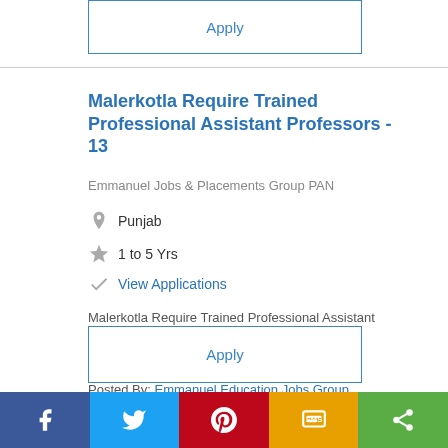Apply
Malerkotla Require Trained Professional Assistant Professors - 13
Emmanuel Jobs & Placements Group PAN
Punjab
1 to 5 Yrs
View Applications
Malerkotla Require Trained Professional Assistant Professors - 13 Vacancy Details :- ...
Posted By: Emmanuel Education Jobs Group
Apply